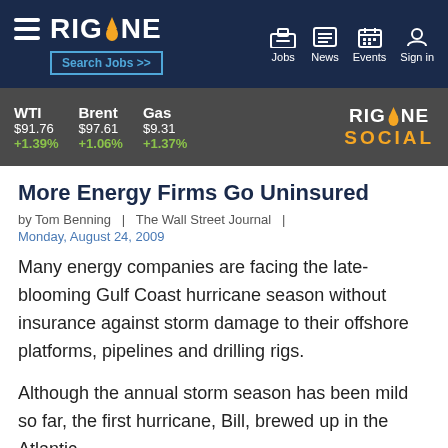RIGZONE | Search Jobs >> | Jobs | News | Events | Sign in
WTI $91.76 +1.39% | Brent $97.61 +1.06% | Gas $9.31 +1.37% | RIGZONE SOCIAL
More Energy Firms Go Uninsured
by Tom Benning  |  The Wall Street Journal  |
Monday, August 24, 2009
Many energy companies are facing the late-blooming Gulf Coast hurricane season without insurance against storm damage to their offshore platforms, pipelines and drilling rigs.
Although the annual storm season has been mild so far, the first hurricane, Bill, brewed up in the Atlantic